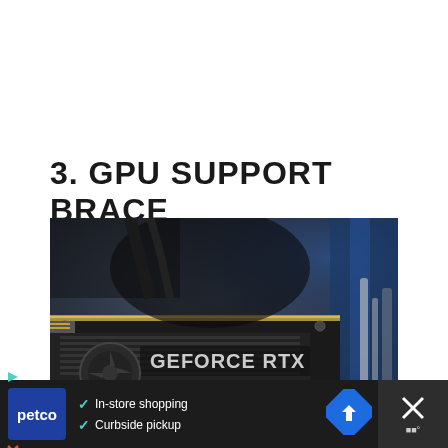3. GPU SUPPORT BRACE
[Figure (photo): Close-up photograph of a GeForce RTX graphics card inside a PC case, showing the GPU with a metal support brace/bar resting on top of it. The card has 'GEFORCE RTX' branding visible on a black heat sink.]
[Figure (screenshot): Advertisement banner for Petco showing 'In-store shopping' and 'Curbside pickup' checkmarks on a dark background, with a Petco logo, a blue navigation arrow icon, and a close button with X.]